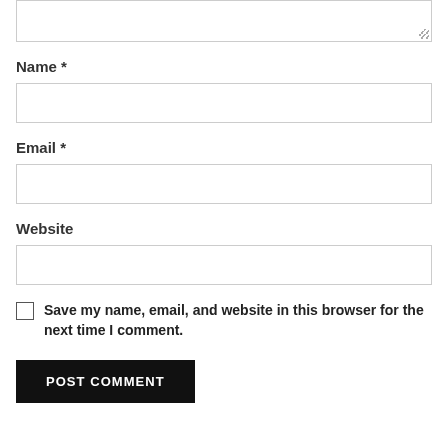[textarea top partial]
Name *
[Figure (other): Name text input field]
Email *
[Figure (other): Email text input field]
Website
[Figure (other): Website text input field]
Save my name, email, and website in this browser for the next time I comment.
POST COMMENT